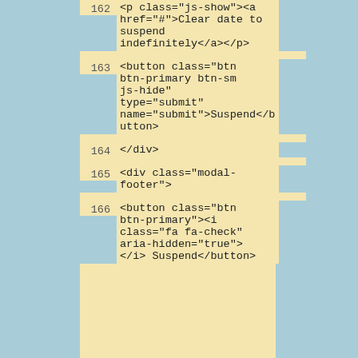[Figure (screenshot): Code listing showing HTML template code with line numbers 162-166. Lines show a paragraph with an anchor tag using onclick to clear a suspend date, a button for submitting suspension, a closing div, a div with modal-footer class, and a button with an icon for confirming suspension.]